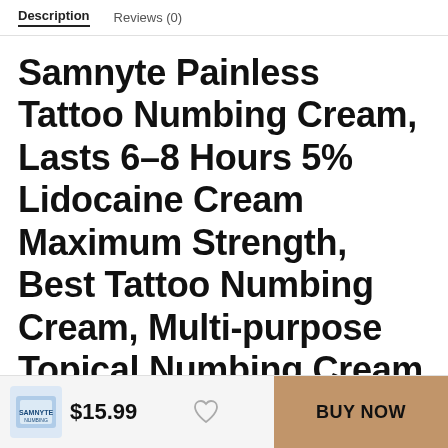Description   Reviews (0)
Samnyte Painless Tattoo Numbing Cream, Lasts 6-8 Hours 5% Lidocaine Cream Maximum Strength, Best Tattoo Numbing Cream, Multi-purpose Topical Numbing Cream for Piercing, Waxing, Microneedling – 1.41Oz
$15.99   BUY NOW